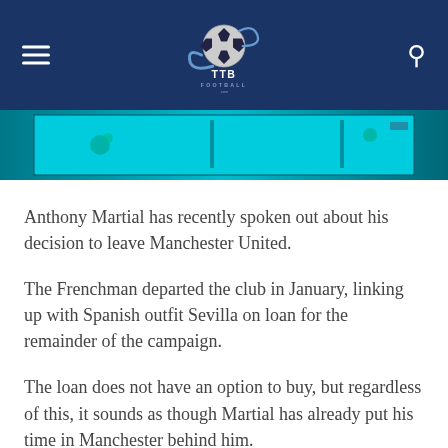TTB Football .com
[Figure (screenshot): Banner image showing a football/soccer themed graphic with teal and dark blue colors]
Anthony Martial has recently spoken out about his decision to leave Manchester United.
The Frenchman departed the club in January, linking up with Spanish outfit Sevilla on loan for the remainder of the campaign.
The loan does not have an option to buy, but regardless of this, it sounds as though Martial has already put his time in Manchester behind him.